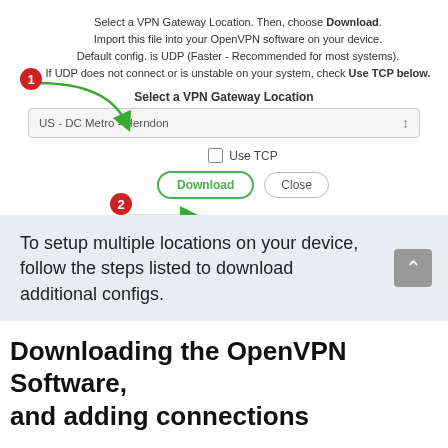Select a VPN Gateway Location. Then, choose Download. Import this file into your OpenVPN software on your device. Default config. is UDP (Faster - Recommended for most systems). If UDP does not connect or is unstable on your system, check Use TCP below.
[Figure (screenshot): Screenshot of VPN Gateway Location dialog with numbered step annotations. Step 1 (red badge with green arrow) points to dropdown selector showing 'US - DC Metro - Herndon'. Step 2 (red badge with green arrow) points to Download button and Close button, with a Use TCP checkbox above.]
To setup multiple locations on your device, follow the steps listed to download additional configs.
Downloading the OpenVPN Software, and adding connections